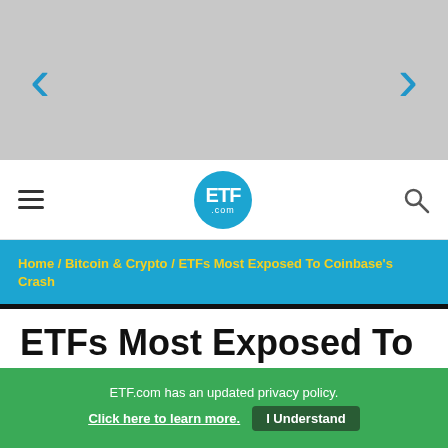< >
ETF.com
Home / Bitcoin & Crypto / ETFs Most Exposed To Coinbase's Crash
ETFs Most Exposed To Coinbase's Crash
May 11, 2022
Dan Mika
ETF.com has an updated privacy policy. Click here to learn more. I Understand